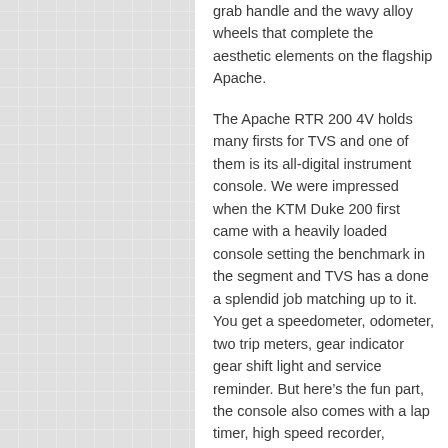grab handle and the wavy alloy wheels that complete the aesthetic elements on the flagship Apache.
The Apache RTR 200 4V holds many firsts for TVS and one of them is its all-digital instrument console. We were impressed when the KTM Duke 200 first came with a heavily loaded console setting the benchmark in the segment and TVS has a done a splendid job matching up to it. You get a speedometer, odometer, two trip meters, gear indicator gear shift light and service reminder. But here's the fun part, the console also comes with a lap timer, high speed recorder, shortest distance recorder and a humble message that says 'Race On' every time you turn the ignition on.
While the styling is one aspect of grabbing attention, TVS has managed to